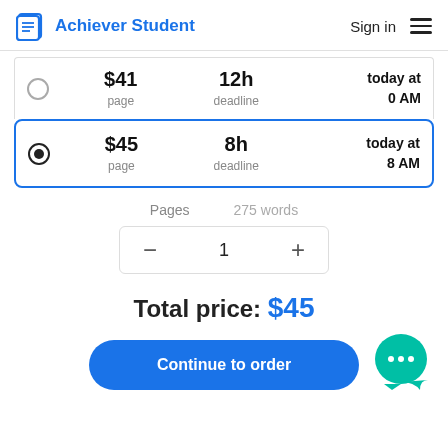Achiever Student — Sign in
$41 page | 12h deadline | today at 0 AM
$45 page | 8h deadline | today at 8 AM (selected)
Pages   275 words
1
Total price: $45
Continue to order